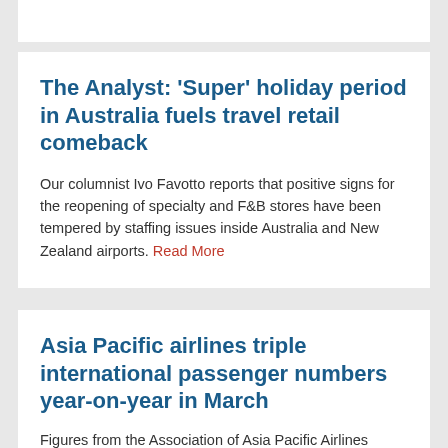The Analyst: ‘Super’ holiday period in Australia fuels travel retail comeback
Our columnist Ivo Favotto reports that positive signs for the reopening of specialty and F&B stores have been tempered by staffing issues inside Australia and New Zealand airports. Read More
Asia Pacific airlines triple international passenger numbers year-on-year in March
Figures from the Association of Asia Pacific Airlines